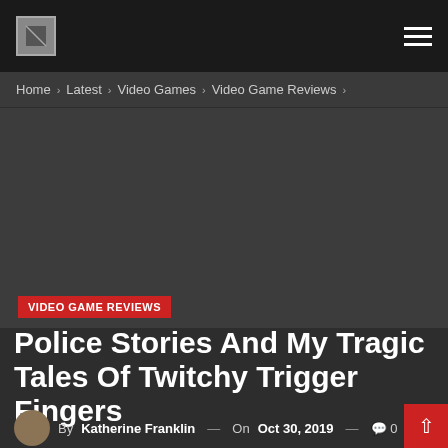Navigation bar with logo and hamburger menu
Home › Latest › Video Games › Video Game Reviews ›
[Figure (other): Large dark placeholder image area (advertisement or hero image)]
VIDEO GAME REVIEWS
Police Stories And My Tragic Tales Of Twitchy Trigger Fingers
By Katherine Franklin — On Oct 30, 2019 — 0